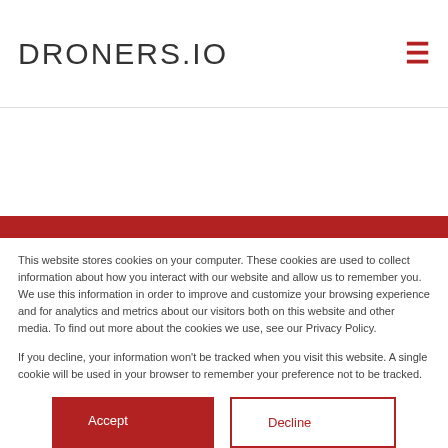DRONERS.IO
Ready to get started?
Post a job and begin receiving quotes from licensed local pilots
POST A JOB
JOIN THE NETWORK
This website stores cookies on your computer. These cookies are used to collect information about how you interact with our website and allow us to remember you. We use this information in order to improve and customize your browsing experience and for analytics and metrics about our visitors both on this website and other media. To find out more about the cookies we use, see our Privacy Policy.
If you decline, your information won’t be tracked when you visit this website. A single cookie will be used in your browser to remember your preference not to be tracked.
Accept
Decline